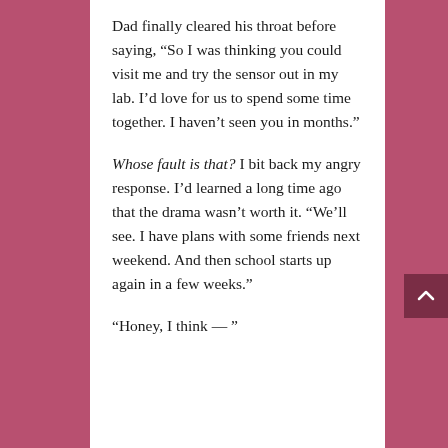Dad finally cleared his throat before saying, “So I was thinking you could visit me and try the sensor out in my lab. I’d love for us to spend some time together. I haven’t seen you in months.”
Whose fault is that? I bit back my angry response. I’d learned a long time ago that the drama wasn’t worth it. “We’ll see. I have plans with some friends next weekend. And then school starts up again in a few weeks.”
“Honey, I think — ”